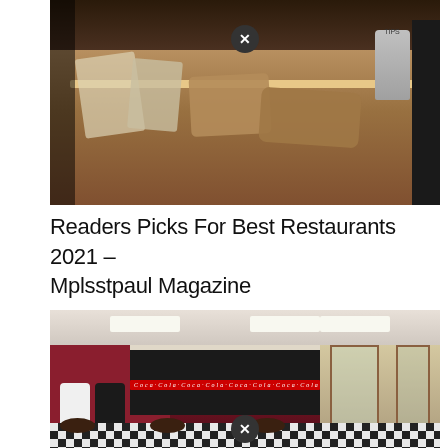[Figure (photo): Photo of a deli or sandwich shop counter with various food items, bags, and packaged goods displayed on a wooden surface. A tips jar is visible on the right side.]
Readers Picks For Best Restaurants 2021 – Mplsstpaul Magazine
[Figure (photo): Interior of a diner with red walls, a black counter with Coca-Cola branding, black and white checkered floor, merchandise including t-shirts, and red entrance doors in the background.]